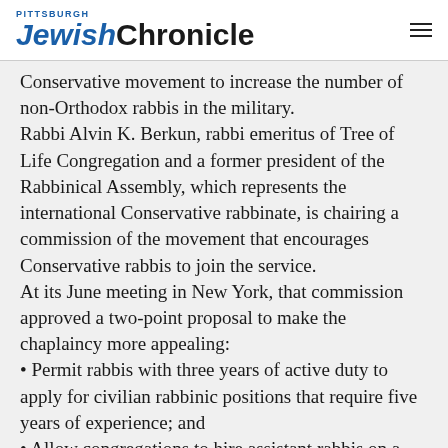PITTSBURGH JewishChronicle
Conservative movement to increase the number of non-Orthodox rabbis in the military. Rabbi Alvin K. Berkun, rabbi emeritus of Tree of Life Congregation and a former president of the Rabbinical Assembly, which represents the international Conservative rabbinate, is chairing a commission of the movement that encourages Conservative rabbis to join the service. At its June meeting in New York, that commission approved a two-point proposal to make the chaplaincy more appealing:
• Permit rabbis with three years of active duty to apply for civilian rabbinic positions that require five years of experience; and
• Allow congregations to hire assistant rabbis on a